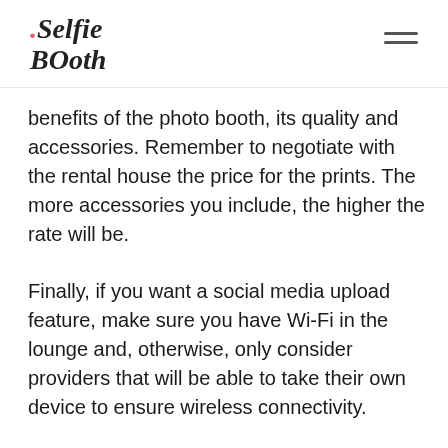Selfie Booth
benefits of the photo booth, its quality and accessories. Remember to negotiate with the rental house the price for the prints. The more accessories you include, the higher the rate will be.
Finally, if you want a social media upload feature, make sure you have Wi-Fi in the lounge and, otherwise, only consider providers that will be able to take their own device to ensure wireless connectivity.
If you want to know the latest photo booth